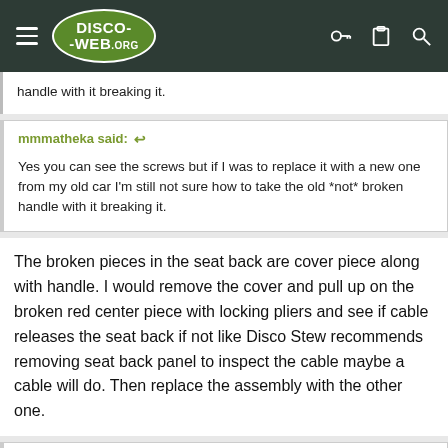Disco-Web.org
handle with it breaking it.
mmmatheka said: ↩

Yes you can see the screws but if I was to replace it with a new one from my old car I'm still not sure how to take the old *not* broken handle with it breaking it.
The broken pieces in the seat back are cover piece along with handle. I would remove the cover and pull up on the broken red center piece with locking pliers and see if cable releases the seat back if not like Disco Stew recommends removing seat back panel to inspect the cable maybe a cable will do. Then replace the assembly with the other one.
mmmatheka said: ↩

Yes you can see the screws but if I was to replace it with a new one from my old car I'm still not sure how to take the old *not* broken handle with it breaking it.